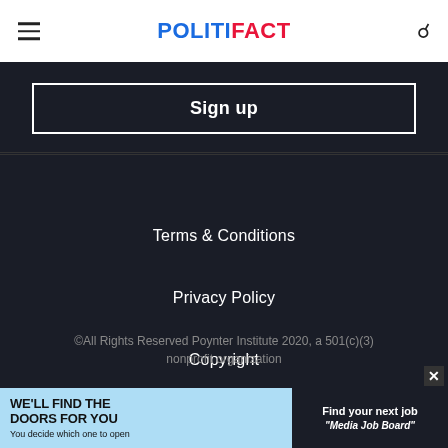POLITIFACT
Sign up
Terms & Conditions
Privacy Policy
Copyright
©All Rights Reserved Poynter Institute 2020, a 501(c)(3) nonprofit organization
[Figure (other): Advertisement banner: WE'LL FIND THE DOORS FOR YOU / You decide which one to open / Find your next job / Media Job Board]